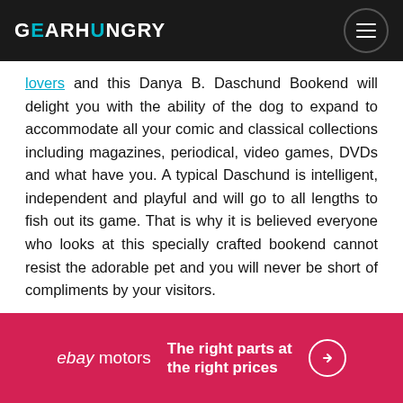GEARHUNGRY
lovers and this Danya B. Daschund Bookend will delight you with the ability of the dog to expand to accommodate all your comic and classical collections including magazines, periodical, video games, DVDs and what have you. A typical Daschund is intelligent, independent and playful and will go to all lengths to fish out its game. That is why it is believed everyone who looks at this specially crafted bookend cannot resist the adorable pet and you will never be short of compliments by your visitors.
[Figure (other): eBay Motors advertisement banner: red background with 'ebay motors' logo on left, text 'The right parts at the right prices' in white bold, and a circular arrow button on right]